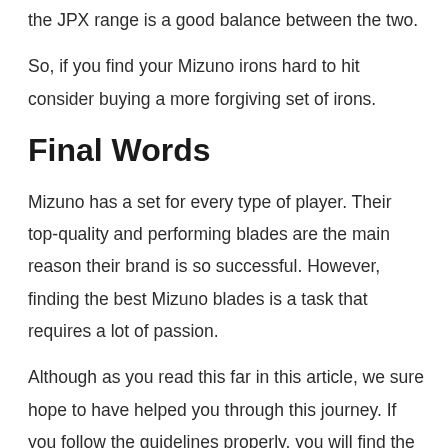the JPX range is a good balance between the two.
So, if you find your Mizuno irons hard to hit consider buying a more forgiving set of irons.
Final Words
Mizuno has a set for every type of player. Their top-quality and performing blades are the main reason their brand is so successful. However, finding the best Mizuno blades is a task that requires a lot of passion.
Although as you read this far in this article, we sure hope to have helped you through this journey. If you follow the guidelines properly, you will find the perfect iron for your gameplay.